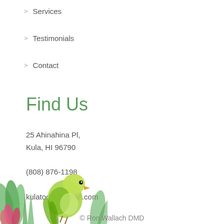> Services
> Testimonials
> Contact
Find Us
25 Ahinahina Pl,
Kula, HI 96790

(808) 876-1198

kulatooth@gmail.com
[Figure (illustration): Watercolor illustration of a green bird (parakeet/parrot) perched among tropical pink and green foliage in the bottom-left corner of the page]
© Ron Wallach DMD